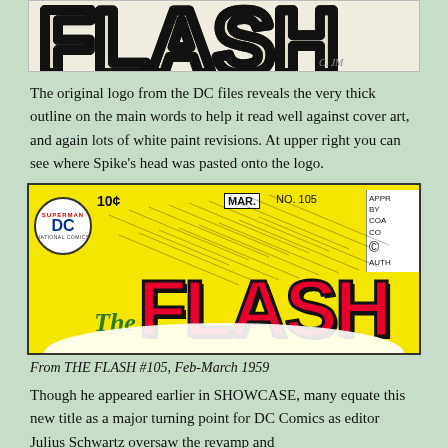[Figure (photo): Top portion of original DC logo artwork showing thick outline lettering on aged paper background]
The original logo from the DC files reveals the very thick outline on the main words to help it read well against cover art, and again lots of white paint revisions. At upper right you can see where Spike’s head was pasted onto the logo.
[Figure (photo): Cover of The Flash #105 (Feb-March 1959) showing the classic Flash logo in bold red letters on yellow background, DC Superman National Comics badge at left, price 10 cents, MAR. NO. 105 date stamp]
From THE FLASH #105, Feb-March 1959
Though he appeared earlier in SHOWCASE, many equate this new title as a major turning point for DC Comics as editor Julius Schwartz oversaw the revamp and